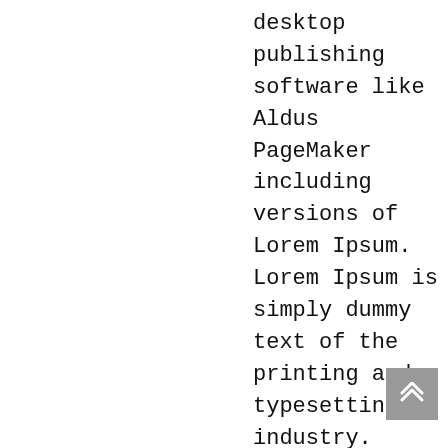desktop publishing software like Aldus PageMaker including versions of Lorem Ipsum. Lorem Ipsum is simply dummy text of the printing and typesetting industry. Lorem Ipsum has been the industry's standard dummy text ever since the 1500s, when an unknown printer took a galley of type and scrambled it to make a type specimen book. It has survived not only five centuries, but also the leap into electronic typesetting, remaining essentially unchanged. It was popularised in the 1960s with the release of